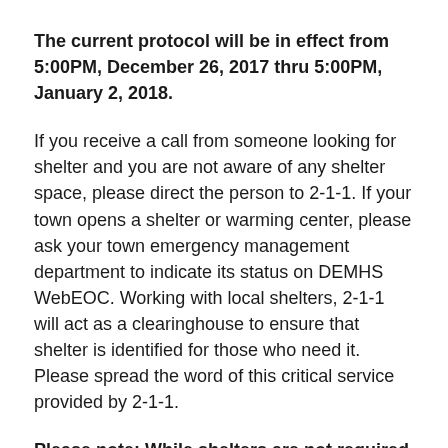The current protocol will be in effect from 5:00PM, December 26, 2017 thru 5:00PM, January 2, 2018.
If you receive a call from someone looking for shelter and you are not aware of any shelter space, please direct the person to 2-1-1. If your town opens a shelter or warming center, please ask your town emergency management department to indicate its status on DEMHS WebEOC. Working with local shelters, 2-1-1 will act as a clearinghouse to ensure that shelter is identified for those who need it. Please spread the word of this critical service provided by 2-1-1.
Please note: While shelters are not required to remain open during hours they would normally close during this cold weather period, any efforts that shelters and other frontline providers can make to provide shelter space for those in need during this particular cold is appreciated.